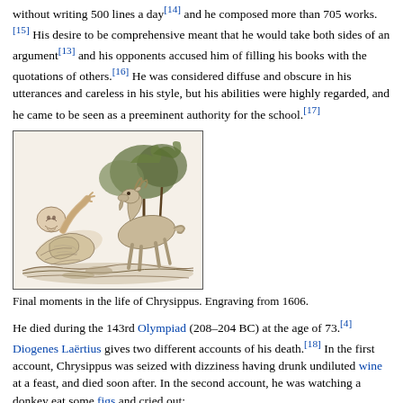without writing 500 lines a day[14] and he composed more than 705 works.[15] His desire to be comprehensive meant that he would take both sides of an argument[13] and his opponents accused him of filling his books with the quotations of others.[16] He was considered diffuse and obscure in his utterances and careless in his style, but his abilities were highly regarded, and he came to be seen as a preeminent authority for the school.[17]
[Figure (illustration): Woodcut engraving showing final moments in the life of Chrysippus — a reclining figure with a goat or donkey, trees in background. Engraving from 1606.]
Final moments in the life of Chrysippus. Engraving from 1606.
He died during the 143rd Olympiad (208–204 BC) at the age of 73.[4] Diogenes Laërtius gives two different accounts of his death.[18] In the first account, Chrysippus was seized with dizziness having drunk undiluted wine at a feast, and died soon after. In the second account, he was watching a donkey eat some figs and cried out: "Now give the donkey a drink of pure wine to wash down the